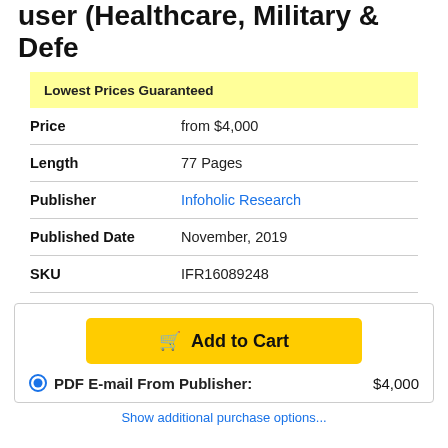user (Healthcare, Military & Defe
|  |  |
| --- | --- |
| Lowest Prices Guaranteed |  |
| Price | from $4,000 |
| Length | 77 Pages |
| Publisher | Infoholic Research |
| Published Date | November, 2019 |
| SKU | IFR16089248 |
Add to Cart
PDF E-mail From Publisher: $4,000
Show additional purchase options...